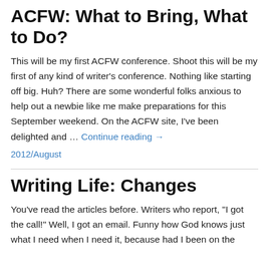ACFW: What to Bring, What to Do?
This will be my first ACFW conference. Shoot this will be my first of any kind of writer's conference. Nothing like starting off big. Huh? There are some wonderful folks anxious to help out a newbie like me make preparations for this September weekend. On the ACFW site, I've been delighted and … Continue reading →
2012/August
Writing Life: Changes
You've read the articles before. Writers who report, "I got the call!" Well, I got an email. Funny how God knows just what I need when I need it, because had I been on the